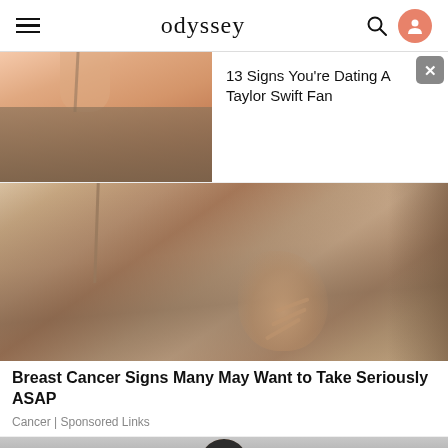odyssey
[Figure (photo): Advertisement banner with partial photo on left and text on right reading '13 Signs You're Dating A Taylor Swift Fan' with a close button]
[Figure (photo): Photo of a person wearing a gray tank top with a hand pressed against their chest, illustrating breast self-examination]
Breast Cancer Signs Many May Want to Take Seriously ASAP
Cancer | Sponsored Links
[Figure (photo): Partial photo of a person's head/face at the bottom of the page]